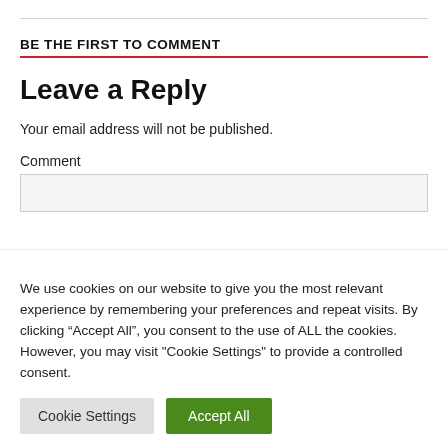BE THE FIRST TO COMMENT
Leave a Reply
Your email address will not be published.
Comment
We use cookies on our website to give you the most relevant experience by remembering your preferences and repeat visits. By clicking “Accept All”, you consent to the use of ALL the cookies. However, you may visit "Cookie Settings" to provide a controlled consent.